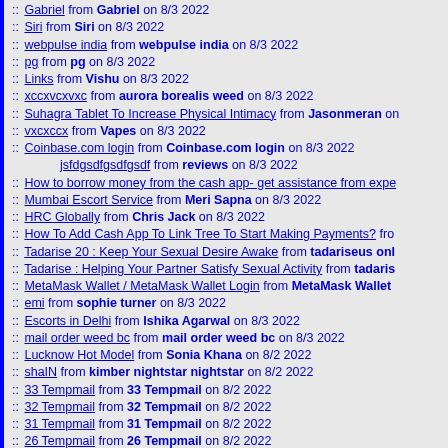:: Gabriel from Gabriel on 8/3 2022
:: Siri from Siri on 8/3 2022
:: webpulse india from webpulse india on 8/3 2022
:: pg from pg on 8/3 2022
:: Links from Vishu on 8/3 2022
:: xccxvcxvxc from aurora borealis weed on 8/3 2022
:: Suhagra Tablet To Increase Physical Intimacy from Jasonmeran on...
:: vxcxccx from Vapes on 8/3 2022
:: Coinbase.com login from Coinbase.com login on 8/3 2022
jsfdgsdfgsdfgsdf from reviews on 8/3 2022
:: How to borrow money from the cash app- get assistance from expe...
:: Mumbai Escort Service from Meri Sapna on 8/3 2022
:: HRC Globally from Chris Jack on 8/3 2022
:: How To Add Cash App To Link Tree To Start Making Payments? fro...
:: Tadarise 20 : Keep Your Sexual Desire Awake from tadariseus onl...
:: Tadarise : Helping Your Partner Satisfy Sexual Activity from tadaris...
:: MetaMask Wallet / MetaMask Wallet Login from MetaMask Wallet ...
:: emi from sophie turner on 8/3 2022
:: Escorts in Delhi from Ishika Agarwal on 8/3 2022
:: mail order weed bc from mail order weed bc on 8/3 2022
:: Lucknow Hot Model from Sonia Khana on 8/2 2022
:: shaIN from kimber nightstar nightstar on 8/2 2022
:: 33 Tempmail from 33 Tempmail on 8/2 2022
:: 32 Tempmail from 32 Tempmail on 8/2 2022
:: 31 Tempmail from 31 Tempmail on 8/2 2022
:: 26 Tempmail from 26 Tempmail on 8/2 2022
:: 24 Tempmail from 24 Tempmail on 8/2 2022
:: 23 Tempmail from 23 Tempmail on 8/2 2022
:: 21 Tempmail from 21 Tempmail on 8/2 2022
:: 20 Tempmail from 20 Tempmail on 8/2 2022